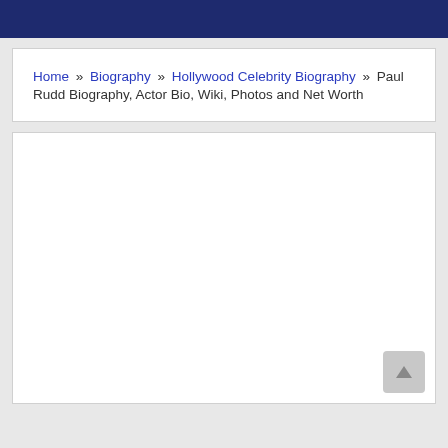Home » Biography » Hollywood Celebrity Biography » Paul Rudd Biography, Actor Bio, Wiki, Photos and Net Worth